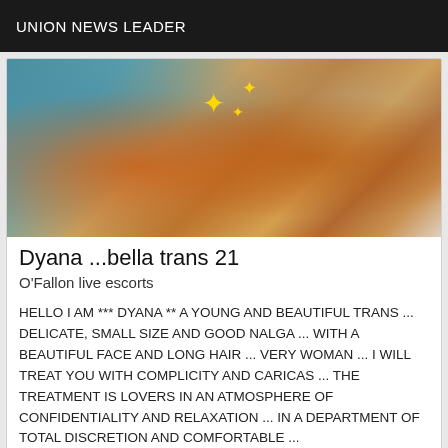UNION NEWS LEADER
[Figure (photo): Photo of a person in a bathroom setting with sparkle emoji overlays]
Dyana ...bella trans 21
O'Fallon live escorts
HELLO I AM *** DYANA ** A YOUNG AND BEAUTIFUL TRANS ... DELICATE, SMALL SIZE AND GOOD NALGA ... WITH A BEAUTIFUL FACE AND LONG HAIR ... VERY WOMAN ... I WILL TREAT YOU WITH COMPLICITY AND CARICAS ... THE TREATMENT IS LOVERS IN AN ATMOSPHERE OF CONFIDENTIALITY AND RELAXATION ... IN A DEPARTMENT OF TOTAL DISCRETION AND COMFORTABLE ...